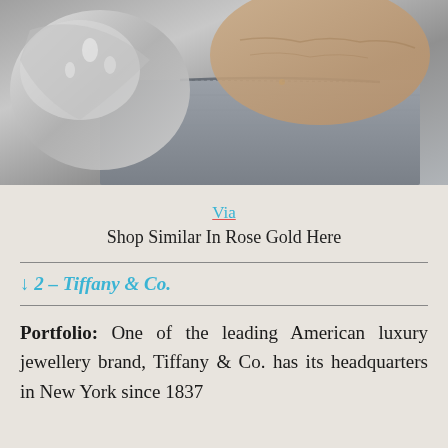[Figure (photo): Close-up photo of a person's hand tucked into a denim jeans pocket, with what appears to be a metallic or silver object visible, in black and white/muted tones.]
Via
Shop Similar In Rose Gold Here
↓ 2 – Tiffany & Co.
Portfolio: One of the leading American luxury jewellery brand, Tiffany & Co. has its headquarters in New York since 1837